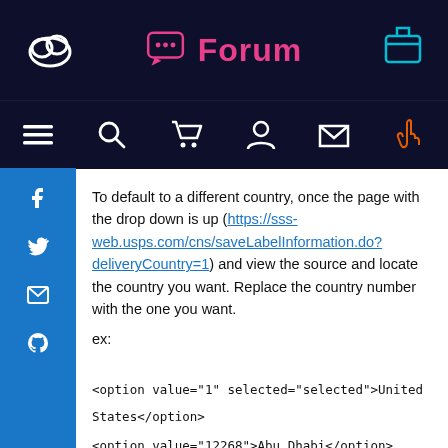Forum
To default to a different country, once the page with the drop down is up (https://sss-web.usps.com/cns/saveLabelInformation.do?deliveryCountry=1) and view the source and locate the country you want. Replace the country number with the one you want.
ex:
<option value="1" selected="selected">United States</option>
<option value="12268">Abu Dhabi</option>
<option value="10440">Abu Dhabi (United Arab Emirates)</option>
<option value="12130">Admiralty Islands</option>